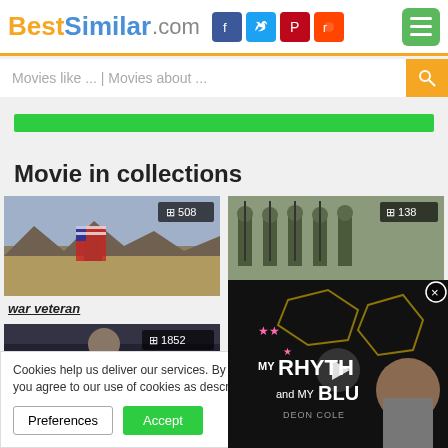BestSimilar.com
Movies like ... | Movies about ...
[Figure (other): Green progress bar spanning full width]
Movie in collections
[Figure (photo): Soldier wrapped in American flag in desert, badge showing 508]
war veteran
[Figure (photo): Military soldiers in camouflage with rifles, badge showing 138]
military service
[Figure (photo): Movie thumbnail with badge showing 1852]
Cookies help us deliver our services. By us you agree to our use of cookies as describe
[Figure (screenshot): Video overlay showing MY RHYTHM and MY BLUES - DEON COLE with play button]